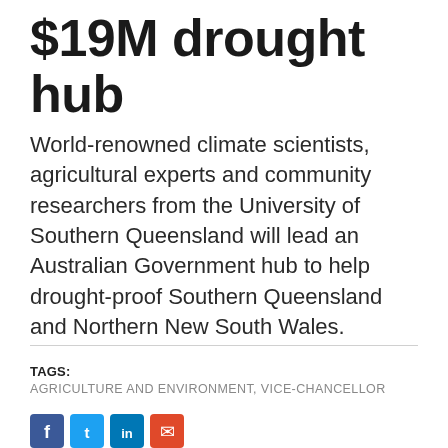$19M drought hub
World-renowned climate scientists, agricultural experts and community researchers from the University of Southern Queensland will lead an Australian Government hub to help drought-proof Southern Queensland and Northern New South Wales.
TAGS: AGRICULTURE AND ENVIRONMENT, VICE-CHANCELLOR
[Figure (other): Social media sharing icons: Facebook (blue), Twitter (light blue), LinkedIn (blue), Email/share (red-orange)]